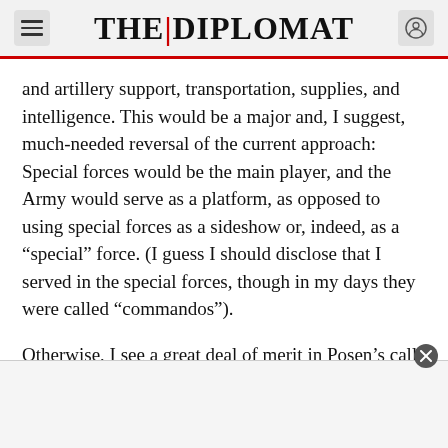THE DIPLOMAT
and artillery support, transportation, supplies, and intelligence. This would be a major and, I suggest, much-needed reversal of the current approach: Special forces would be the main player, and the Army would serve as a platform, as opposed to using special forces as a sideshow or, indeed, as a “special” force. (I guess I should disclose that I served in the special forces, though in my days they were called “commandos”).
Otherwise, I see a great deal of merit in Posen’s call for restraint. His focus on United States self-restoration dovetails well with the call for mutual